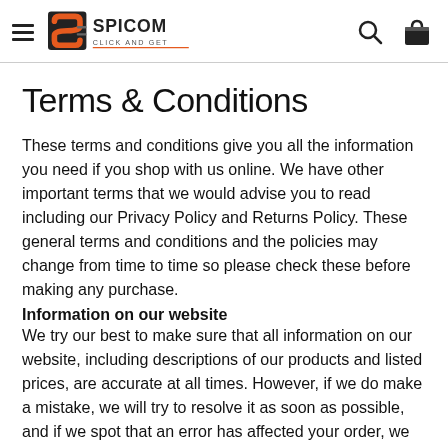SPICOM CLICK AND GET
Terms & Conditions
These terms and conditions give you all the information you need if you shop with us online. We have other important terms that we would advise you to read including our Privacy Policy and Returns Policy. These general terms and conditions and the policies may change from time to time so please check these before making any purchase.
Information on our website
We try our best to make sure that all information on our website, including descriptions of our products and listed prices, are accurate at all times. However, if we do make a mistake, we will try to resolve it as soon as possible, and if we spot that an error has affected your order, we will do our best to let you know. When